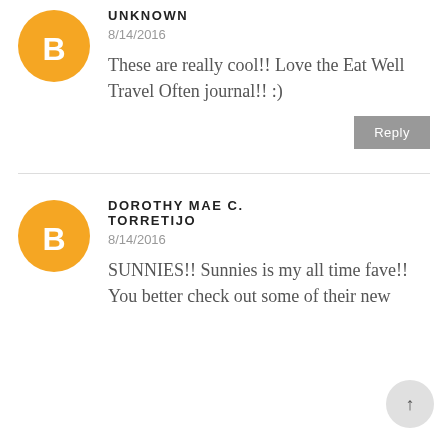[Figure (illustration): Orange circular Blogger avatar icon with white 'B' letter]
UNKNOWN
8/14/2016
These are really cool!! Love the Eat Well Travel Often journal!! :)
Reply
[Figure (illustration): Orange circular Blogger avatar icon with white 'B' letter]
DOROTHY MAE C. TORRETIJO
8/14/2016
SUNNIES!! Sunnies is my all time fave!! You better check out some of their new